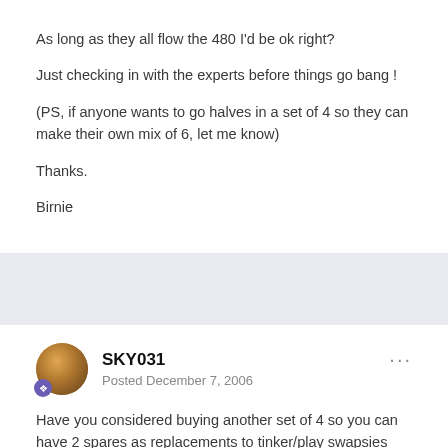As long as they all flow the 480 I'd be ok right?
Just checking in with the experts before things go bang !
(PS, if anyone wants to go halves in a set of 4 so they can make their own mix of 6, let me know)
Thanks.
Birnie
SKY031
Posted December 7, 2006
Have you considered buying another set of 4 so you can have 2 spares as replacements to tinker/play swapsies with in the future?
You'd have test parts on hand if you think you've got an injector